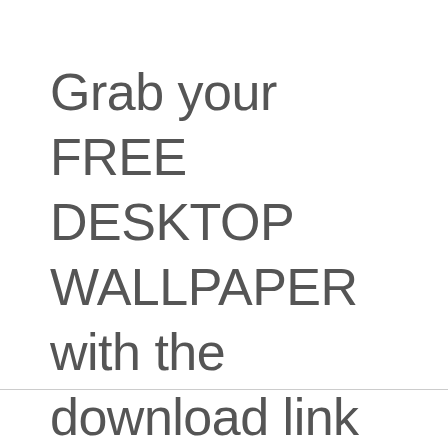Grab your FREE DESKTOP WALLPAPER with the download link below!